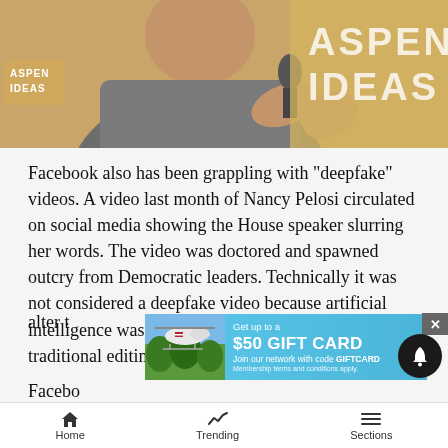[Figure (photo): A man in a grey t-shirt holding a microphone at the Aspen Ideas event, gesturing with his hand. Aspen Ideas signage visible in the background.]
Facebook also has been grappling with “deepfake” videos. A video last month of Nancy Pelosi circulated on social media showing the House speaker slurring her words. The video was doctored and spawned outcry from Democratic leaders. Technically it was not considered a deepfake video because artificial intelligence was not used to take it; rather, it appeared traditional editing techniques were used to alter t
[Figure (photo): Advertisement banner with helicopter image: Get up to a $50 GIFT CARD. Join our network with code GIFTCARD. Membership terms and conditions apply.]
Facel...
Home   Trending   Sections